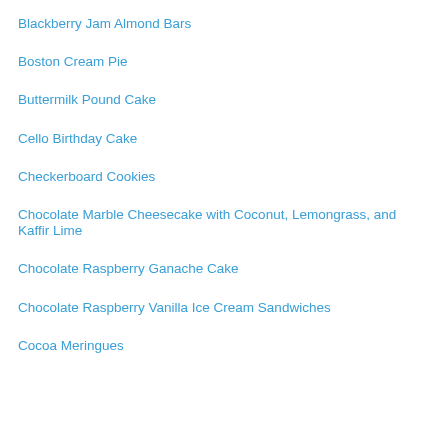Blackberry Jam Almond Bars
Boston Cream Pie
Buttermilk Pound Cake
Cello Birthday Cake
Checkerboard Cookies
Chocolate Marble Cheesecake with Coconut, Lemongrass, and Kaffir Lime
Chocolate Raspberry Ganache Cake
Chocolate Raspberry Vanilla Ice Cream Sandwiches
Cocoa Meringues